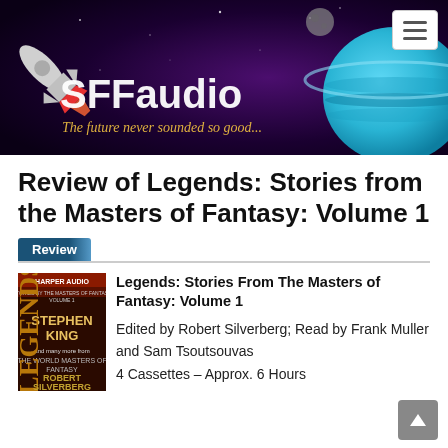[Figure (screenshot): SFFaudio website banner with space rocket, moon, planet, and text 'SFFaudio – The future never sounded so good...' on dark purple space background]
Review of Legends: Stories from the Masters of Fantasy: Volume 1
Review
[Figure (photo): Book cover of Legends: Stories from the Masters of Fantasy Volume 1, featuring Stephen King and Robert Silverberg names on a dark red/gold background]
Legends: Stories From The Masters of Fantasy: Volume 1
Edited by Robert Silverberg; Read by Frank Muller and Sam Tsoutsouvas
4 Cassettes – Approx. 6 Hours